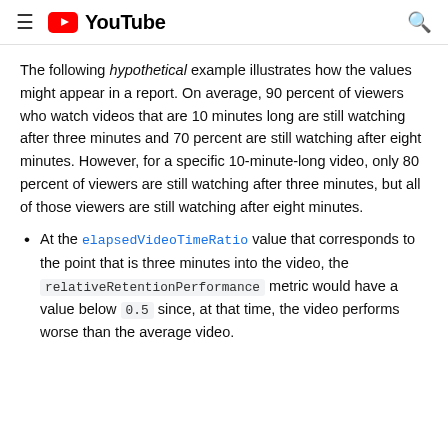≡ ▶ YouTube 🔍
The following hypothetical example illustrates how the values might appear in a report. On average, 90 percent of viewers who watch videos that are 10 minutes long are still watching after three minutes and 70 percent are still watching after eight minutes. However, for a specific 10-minute-long video, only 80 percent of viewers are still watching after three minutes, but all of those viewers are still watching after eight minutes.
At the elapsedVideoTimeRatio value that corresponds to the point that is three minutes into the video, the relativeRetentionPerformance metric would have a value below 0.5 since, at that time, the video performs worse than the average video.